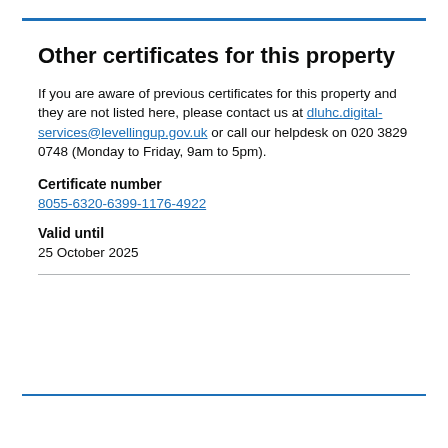Other certificates for this property
If you are aware of previous certificates for this property and they are not listed here, please contact us at dluhc.digital-services@levellingup.gov.uk or call our helpdesk on 020 3829 0748 (Monday to Friday, 9am to 5pm).
Certificate number
8055-6320-6399-1176-4922
Valid until
25 October 2025